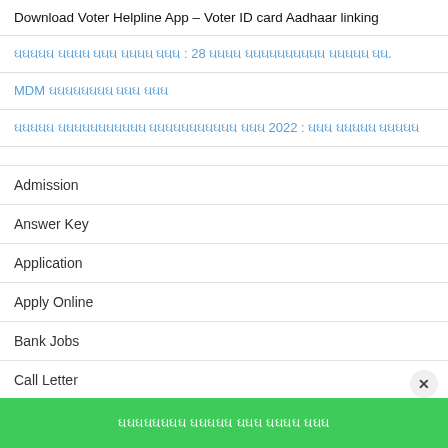Download Voter Helpline App – Voter ID card Aadhaar linking
ઘઘઘઘઘ ઘઘઘઘ ઘઘઘ ઘઘઘઘ ઘઘઘ : 28 ઘઘઘઘ ઘઘઘઘઘઘઘઘઘઘ ઘઘઘઘઘ ઘઘ.
MDM ઘઘઘઘઘઘઘઘ ઘઘઘ ઘઘઘ
ઘઘઘઘઘ ઘઘઘઘઘઘઘઘઘઘઘ ઘઘઘઘઘઘઘઘઘઘઘ ઘઘઘ 2022 : ઘઘઘ ઘઘઘઘઘ ઘઘઘઘઘ
Admission
Answer Key
Application
Apply Online
Bank Jobs
Call Letter
CCC
ઘઘઘઘઘઘઘઘ ઘઘઘઘઘ ઘઘઘ ઘઘઘઘ ઘઘઘ